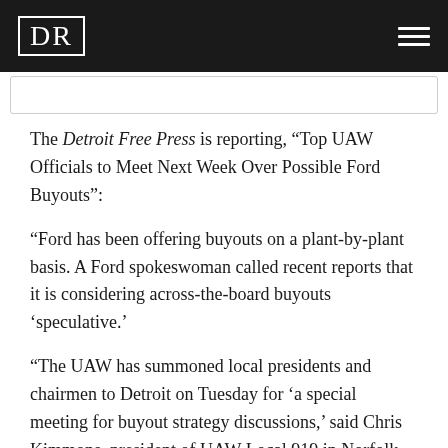DR
The Detroit Free Press is reporting, “Top UAW Officials to Meet Next Week Over Possible Ford Buyouts”:
“Ford has been offering buyouts on a plant-by-plant basis. A Ford spokeswoman called recent reports that it is considering across-the-board buyouts ‘speculative.’
“The UAW has summoned local presidents and chairmen to Detroit on Tuesday for ‘a special meeting for buyout strategy discussions,’ said Chris Kimmons, president of UAW Local 919 in Norfolk, Va.